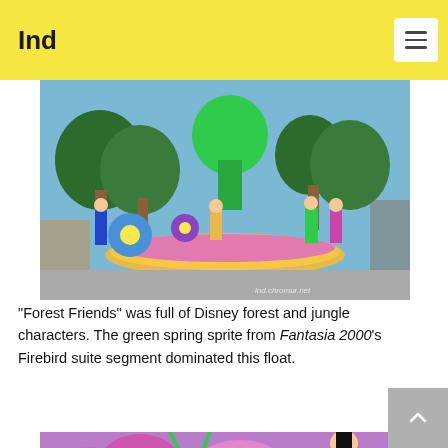Ind
[Figure (photo): A Disney parade float featuring a 'Forest Friends' theme with performers dressed in colorful forest and jungle character costumes, including a large green spring sprite figure from Fantasia 2000, surrounded by flower and leaf costumes, on a flower-decorated float.]
“Forest Friends” was full of Disney forest and jungle characters. The green spring sprite from Fantasia 2000’s Firebird suite segment dominated this float.
[Figure (photo): A close-up of another Disney parade float or character area, featuring colorful purple and pink floral/insect themed costumes and decorations, with a raccoon character visible and a woman in costume.]